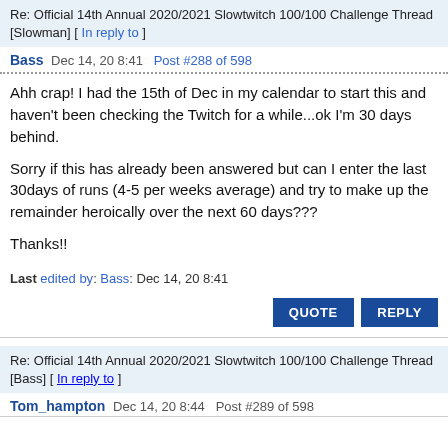Re: Official 14th Annual 2020/2021 Slowtwitch 100/100 Challenge Thread [Slowman] [ In reply to ]
Bass  Dec 14, 20 8:41  Post #288 of 598
Ahh crap! I had the 15th of Dec in my calendar to start this and haven't been checking the Twitch for a while...ok I'm 30 days behind.

Sorry if this has already been answered but can I enter the last 30days of runs (4-5 per weeks average) and try to make up the remainder heroically over the next 60 days???

Thanks!!
Last edited by: Bass: Dec 14, 20 8:41
Re: Official 14th Annual 2020/2021 Slowtwitch 100/100 Challenge Thread [Bass] [ In reply to ]
Tom_hampton  Dec 14, 20 8:44  Post #289 of 598